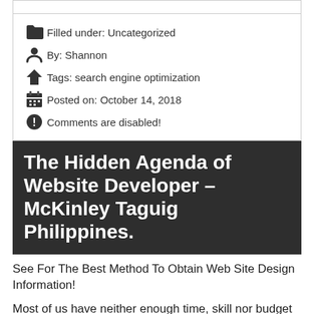Filled under: Uncategorized
By: Shannon
Tags: search engine optimization
Posted on: October 14, 2018
Comments are disabled!
The Hidden Agenda of Website Developer – McKinley Taguig Philippines.
See For The Best Method To Obtain Web Site Design Information!
Most of us have neither enough time, skill nor budget to construct custom rides. However, the majority of people is not going to have a difficult time designing an internet site. With many knowledge, you can create a web site which is stunning. For more information, keep reading.